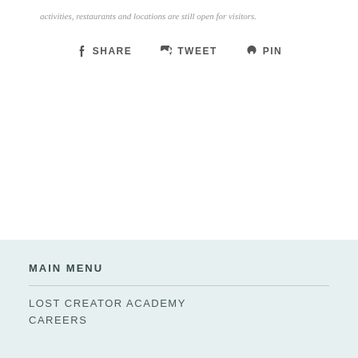activities, restaurants and locations are still open for visitors.
f SHARE   v TWEET   p PIN
MAIN MENU
LOST CREATOR ACADEMY
CAREERS